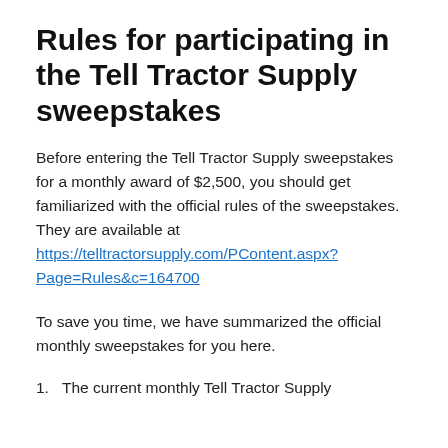Rules for participating in the Tell Tractor Supply sweepstakes
Before entering the Tell Tractor Supply sweepstakes for a monthly award of $2,500, you should get familiarized with the official rules of the sweepstakes. They are available at https://telltractorsupply.com/PContent.aspx?Page=Rules&c=164700
To save you time, we have summarized the official monthly sweepstakes for you here.
The current monthly Tell Tractor Supply